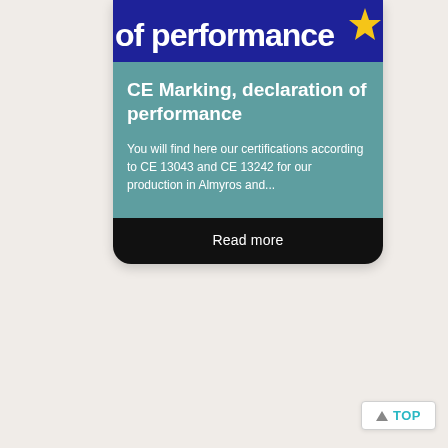[Figure (illustration): Top portion of a card showing 'of performance' text in white on a dark blue EU-themed background with a yellow star on the right]
CE Marking, declaration of performance
You will find here our certifications according to CE 13043 and CE 13242 for our production in Almyros and...
Read more
▲ TOP